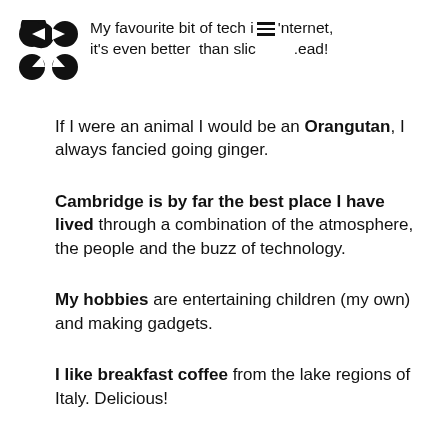My favourite bit of tech is the internet, it's even better than sliced bread!
If I were an animal I would be an Orangutan, I always fancied going ginger.
Cambridge is by far the best place I have lived through a combination of the atmosphere, the people and the buzz of technology.
My hobbies are entertaining children (my own) and making gadgets.
I like breakfast coffee from the lake regions of Italy. Delicious!